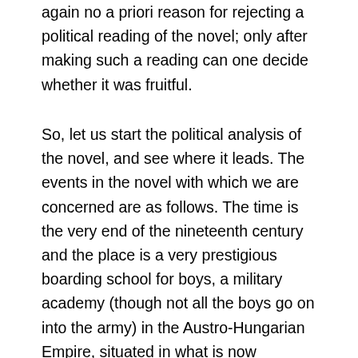again no a priori reason for rejecting a political reading of the novel; only after making such a reading can one decide whether it was fruitful.
So, let us start the political analysis of the novel, and see where it leads. The events in the novel with which we are concerned are as follows. The time is the very end of the nineteenth century and the place is a very prestigious boarding school for boys, a military academy (though not all the boys go on into the army) in the Austro-Hungarian Empire, situated in what is now Slovakia. (Musil wrote the novel in 1906, at the age of 26; and the school is very like one he attended himself). Two boys, Reiting and Beineberg, aged seventeen or